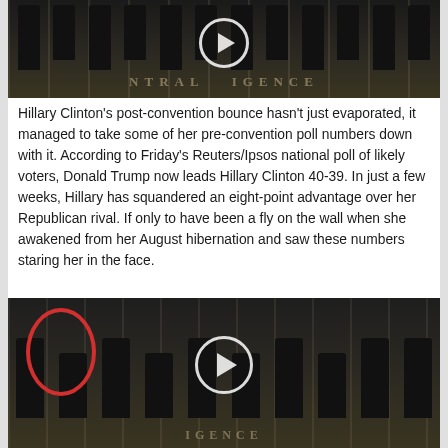[Figure (photo): Video thumbnail showing a group of people standing in front of the CIA seal on the floor, with a white play button circle overlay in the center. Partial top of image visible.]
Hillary Clinton's post-convention bounce hasn't just evaporated, it managed to take some of her pre-convention poll numbers down with it. According to Friday's Reuters/Ipsos national poll of likely voters, Donald Trump now leads Hillary Clinton 40-39. In just a few weeks, Hillary has squandered an eight-point advantage over her Republican rival. If only to have been a fly on the wall when she awakened from her August hibernation and saw these numbers staring her in the face.
[Figure (photo): Video thumbnail showing a group of men in suits standing in front of the CIA seal on the floor. One man on the left is circled in red. A white play button circle overlay appears in the center. Text 'IGENCE' partially visible at bottom.]